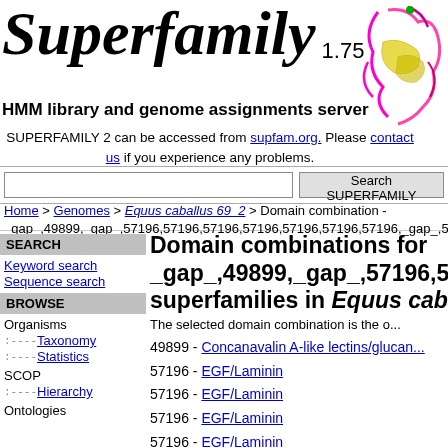Superfamily 1.75
HMM library and genome assignments server
SUPERFAMILY 2 can be accessed from supfam.org. Please contact us if you experience any problems.
Search SUPERFAMILY
Home > Genomes > Equus caballus 69_2 > Domain combination - _gap_,49899,_gap_,57196,57196,57196,57196,57196,57196,57196,_gap_,57...
SEARCH
Keyword search
Sequence search
BROWSE
Organisms
Taxonomy
Statistics
SCOP
Hierarchy
Ontologies
Domain combinations for _gap_,49899,_gap_,57196,57196,57196... superfamilies in Equus caballus
The selected domain combination is the o...
49899 - Concanavalin A-like lectins/glucan...
57196 - EGF/Laminin
57196 - EGF/Laminin
57196 - EGF/Laminin
57196 - EGF/Laminin
57196 - EGF/Laminin